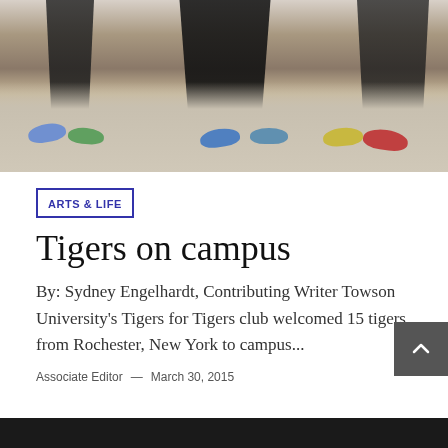[Figure (photo): Photo showing people seated in outdoor chairs, with only their legs and colorful athletic shoes visible from below the frame. Concrete ground visible beneath black metal chairs.]
ARTS & LIFE
Tigers on campus
By: Sydney Engelhardt, Contributing Writer Towson University's Tigers for Tigers club welcomed 15 tigers from Rochester, New York to campus...
Associate Editor — March 30, 2015